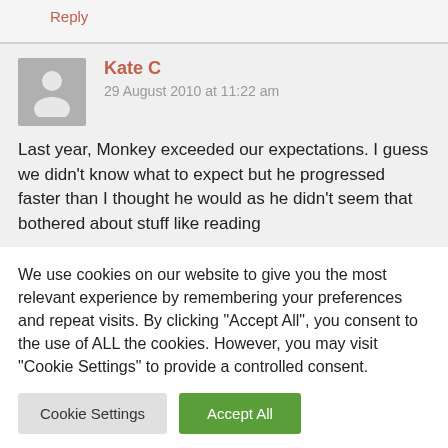Reply
Kate C
29 August 2010 at 11:22 am
Last year, Monkey exceeded our expectations. I guess we didn't know what to expect but he progressed faster than I thought he would as he didn't seem that bothered about stuff like reading
We use cookies on our website to give you the most relevant experience by remembering your preferences and repeat visits. By clicking "Accept All", you consent to the use of ALL the cookies. However, you may visit "Cookie Settings" to provide a controlled consent.